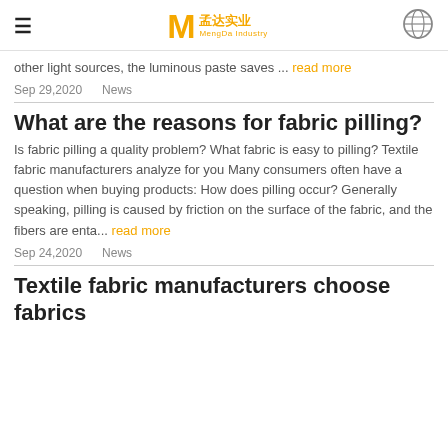MengDa Industry logo and navigation
other light sources, the luminous paste saves ... read more
Sep 29,2020   News
What are the reasons for fabric pilling?
Is fabric pilling a quality problem? What fabric is easy to pilling? Textile fabric manufacturers analyze for you Many consumers often have a question when buying products: How does pilling occur? Generally speaking, pilling is caused by friction on the surface of the fabric, and the fibers are enta... read more
Sep 24,2020   News
Textile fabric manufacturers choose fabrics